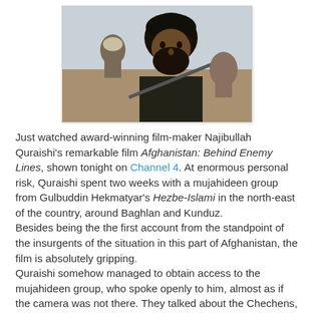[Figure (photo): Close-up photograph of a bearded man in a black turban holding a weapon, with another person visible in the background, in an arid outdoor setting.]
Just watched award-winning film-maker Najibullah Quraishi's remarkable film Afghanistan: Behind Enemy Lines, shown tonight on Channel 4. At enormous personal risk, Quraishi spent two weeks with a mujahideen group from Gulbuddin Hekmatyar's Hezbe-Islami in the north-east of the country, around Baghlan and Kunduz.
Besides being the the first account from the standpoint of the insurgents of the situation in this part of Afghanistan, the film is absolutely gripping.
Quraishi somehow managed to obtain access to the mujahideen group, who spoke openly to him, almost as if the camera was not there. They talked about the Chechens, Uzbeks and Arabs that fought with them, the way they organised, the tactics they used. Quraishi kept his camera running throughout, even as he was being questioned by a